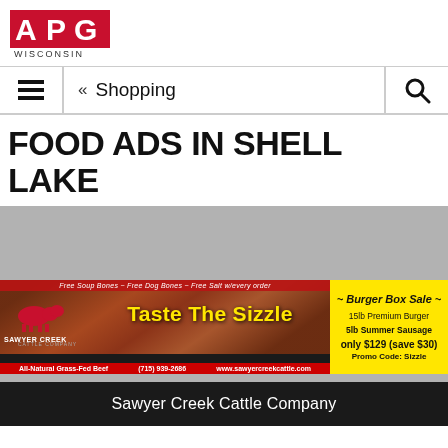APG Wisconsin
Shopping
FOOD ADS IN SHELL LAKE
[Figure (infographic): Sawyer Creek Cattle Company advertisement banner. Shows logo with cattle silhouette, grill/burger photo background, text 'Taste The Sizzle' in yellow, top strip reads 'Free Soup Bones ~ Free Dog Bones ~ Free Salt w/every order', bottom strip reads 'All-Natural Grass-Fed Beef  (715) 939-2686  www.sawyercreekcattle.com'. Yellow promo box on right: '~ Burger Box Sale ~', '15lb Premium Burger', '5lb Summer Sausage', 'only $129 (save $30)', 'Promo Code: Sizzle']
Sawyer Creek Cattle Company